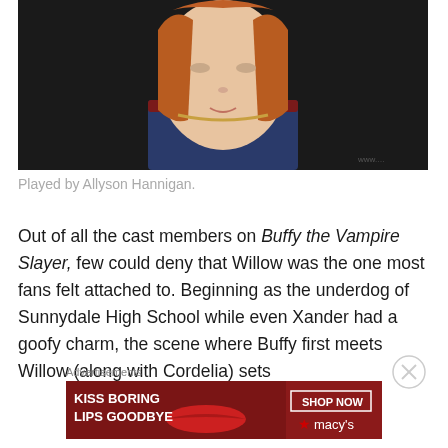[Figure (photo): Close-up portrait of a young woman with red-auburn bob haircut, wearing a blue top with red collar and a gold necklace, against a dark background. Professional headshot style.]
Played by Allyson Hannigan.
Out of all the cast members on Buffy the Vampire Slayer, few could deny that Willow was the one most fans felt attached to. Beginning as the underdog of Sunnydale High School while even Xander had a goofy charm, the scene where Buffy first meets Willow (along with Cordelia) sets
[Figure (advertisement): Macy's advertisement with dark red background showing a woman's face with red lips and text 'KISS BORING LIPS GOODBYE' and 'SHOP NOW' with Macy's star logo.]